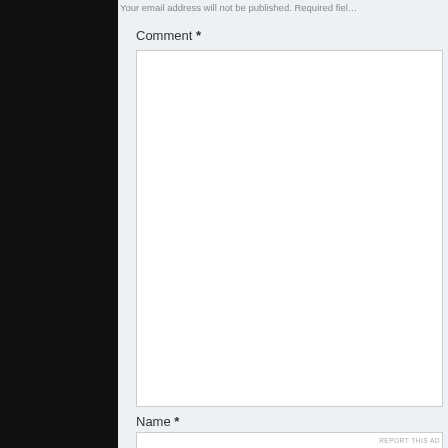Your email address will not be published. Required fiel…
Comment *
Name *
Email *
Advertisements
[Figure (logo): Automattic logo with tagline: Build a better web and a better world.]
REPORT THIS AD